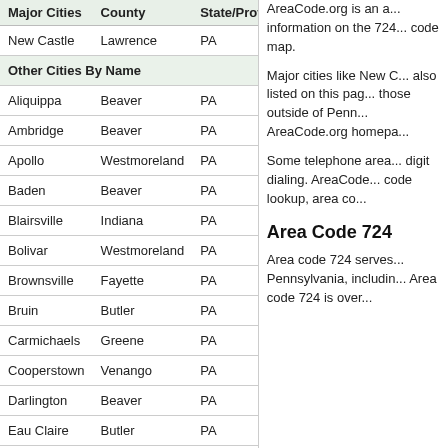| Major Cities | County | State/Province |
| --- | --- | --- |
| New Castle | Lawrence | PA |
| Other Cities By Name |  |  |
| Aliquippa | Beaver | PA |
| Ambridge | Beaver | PA |
| Apollo | Westmoreland | PA |
| Baden | Beaver | PA |
| Blairsville | Indiana | PA |
| Bolivar | Westmoreland | PA |
| Brownsville | Fayette | PA |
| Bruin | Butler | PA |
| Carmichaels | Greene | PA |
| Cooperstown | Venango | PA |
| Darlington | Beaver | PA |
| Eau Claire | Butler | PA |
AreaCode.org is an a... information on the 724... code map.
Major cities like New C... also listed on this pag... those outside of Penn... AreaCode.org homepa...
Some telephone area... digit dialing. AreaCode... code lookup, area co...
Area Code 724
Area code 724 serves... Pennsylvania, includin... Area code 724 is over...